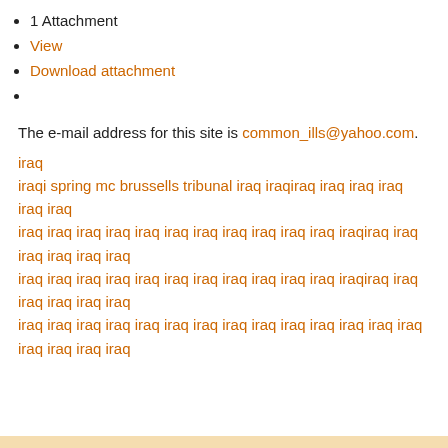1 Attachment
View
Download attachment
The e-mail address for this site is common_ills@yahoo.com.
iraq
iraqi spring mc brussells tribunal iraq iraqiraq iraq iraq iraq iraq iraq
iraq iraq iraq iraq iraq iraq iraq iraq iraq iraq iraq iraqiraq iraq iraq iraq iraq iraq
iraq iraq iraq iraq iraq iraq iraq iraq iraq iraq iraq iraqiraq iraq iraq iraq iraq iraq
iraq iraq iraq iraq iraq iraq iraq iraq iraq iraq iraq iraq iraq iraq iraq iraq iraq iraq
Posted at: 8:59 AM